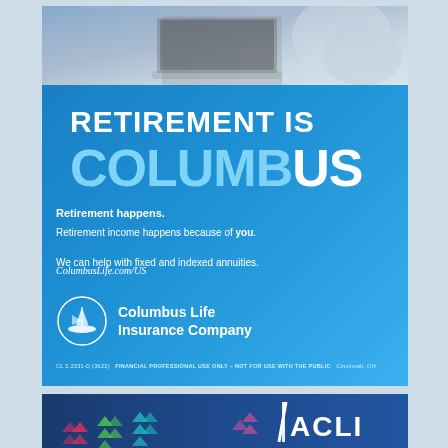[Figure (photo): Photo of laptop computer on a desk, blurred background]
RETIREMENT IS COLUMBUS
Retirement happens.
Retirement income happens because of you.
We can help with fixed and indexed annuities.
ColumbusLife.com/US
[Figure (logo): Columbus Life Insurance Company logo with ship in circle]
CL 5.2331-D (3622)  FINANCIAL PROFESSIONAL USE ONLY – NOT FOR USE WITH THE PUBLIC   Cincinnati, OH
[Figure (logo): ACLI logo with decorative chevron arrows in pink, green, teal colors on dark blue background]